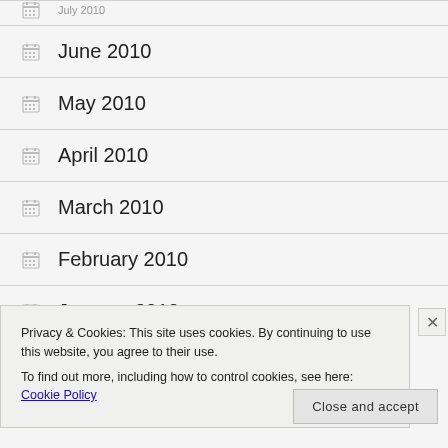June 2010
May 2010
April 2010
March 2010
February 2010
January 2010
Privacy & Cookies: This site uses cookies. By continuing to use this website, you agree to their use.
To find out more, including how to control cookies, see here: Cookie Policy
Close and accept